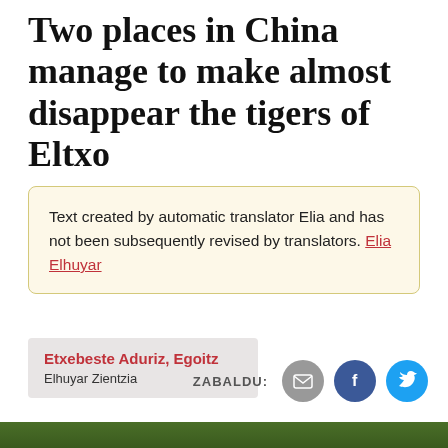Two places in China manage to make almost disappear the tigers of Eltxo
Text created by automatic translator Elia and has not been subsequently revised by translators. Elia Elhuyar
Etxebeste Aduriz, Egoitz
Elhuyar Zientzia
ZABALDU:
[Figure (photo): Bottom strip showing a partial green/nature image, likely foliage]